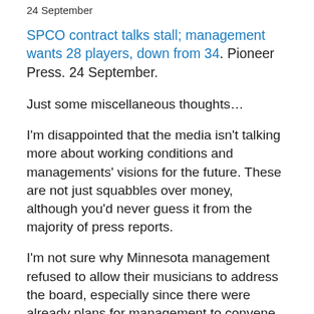24 September
SPCO contract talks stall; management wants 28 players, down from 34. Pioneer Press. 24 September.
Just some miscellaneous thoughts…
I'm disappointed that the media isn't talking more about working conditions and managements' visions for the future. These are not just squabbles over money, although you'd never guess it from the majority of press reports.
I'm not sure why Minnesota management refused to allow their musicians to address the board, especially since there were already plans for management to convene that evening…? I'd like to hear from them about that. Why wouldn't you at least make the show of meeting with them? You wouldn't have to actually listen to them, if you didn't want to. You could have with you as your iPhone and d